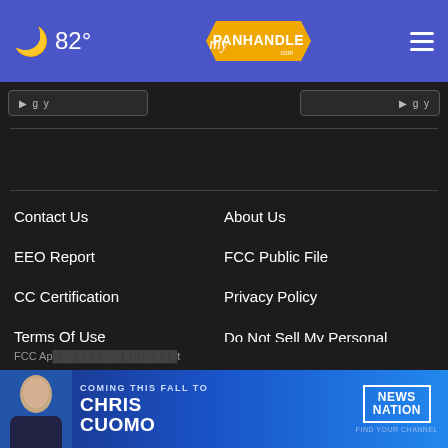82° myPanhandle.com
Contact Us
About Us
EEO Report
FCC Public File
CC Certification
Privacy Policy
Terms Of Use
Do Not Sell My Personal Information
FCC Ap... t
[Figure (advertisement): Chris Cuomo Coming This Fall to NewsNation ad banner]